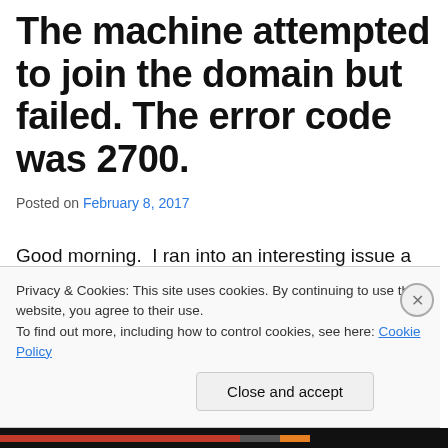The machine attempted to join the domain but failed. The error code was 2700.
Posted on February 8, 2017
Good morning.  I ran into an interesting issue a couple of weeks ago.  I had a customer that was not able to join any of their client systems to a newly created Windows...
Privacy & Cookies: This site uses cookies. By continuing to use this website, you agree to their use.
To find out more, including how to control cookies, see here: Cookie Policy
Close and accept